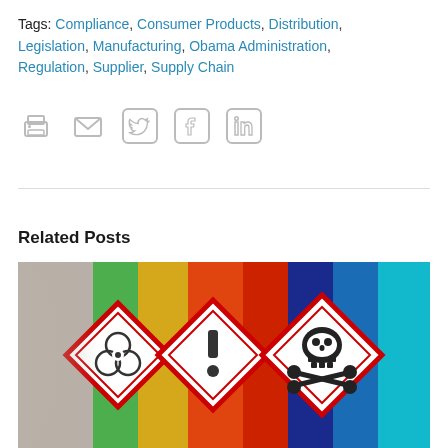Tags: Compliance, Consumer Products, Distribution, Legislation, Manufacturing, Obama Administration, Regulation, Supplier, Supply Chain
[Figure (other): Social sharing icons: print, email, Twitter, Facebook, LinkedIn]
Related Posts
[Figure (photo): Photo of multiple chemical hazard warning symbols (GHS pictograms) on colorful labels arranged side by side, including biohazard, flammable, toxic (skull and crossbones), corrosive, and environmental hazard symbols.]